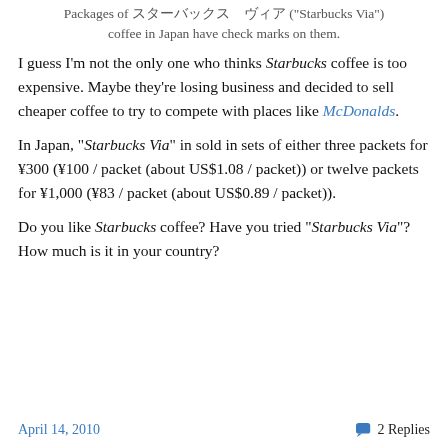Packages of スターバックス ヴィア ("Starbucks Via") coffee in Japan have check marks on them.
I guess I'm not the only one who thinks Starbucks coffee is too expensive. Maybe they're losing business and decided to sell cheaper coffee to try to compete with places like McDonalds.
In Japan, "Starbucks Via" in sold in sets of either three packets for ¥300 (¥100 / packet (about US$1.08 / packet)) or twelve packets for ¥1,000 (¥83 / packet (about US$0.89 / packet)).
Do you like Starbucks coffee? Have you tried "Starbucks Via"? How much is it in your country?
April 14, 2010   2 Replies